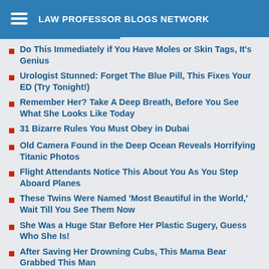LAW PROFESSOR BLOGS NETWORK
Do This Immediately if You Have Moles or Skin Tags, It's Genius
Urologist Stunned: Forget The Blue Pill, This Fixes Your ED (Try Tonight!)
Remember Her? Take A Deep Breath, Before You See What She Looks Like Today
31 Bizarre Rules You Must Obey in Dubai
Old Camera Found in the Deep Ocean Reveals Horrifying Titanic Photos
Flight Attendants Notice This About You As You Step Aboard Planes
These Twins Were Named 'Most Beautiful in the World,' Wait Till You See Them Now
She Was a Huge Star Before Her Plastic Sugery, Guess Who She Is!
After Saving Her Drowning Cubs, This Mama Bear Grabbed This Man
Big Bang's Bernadette is a Bombshell in Real Life